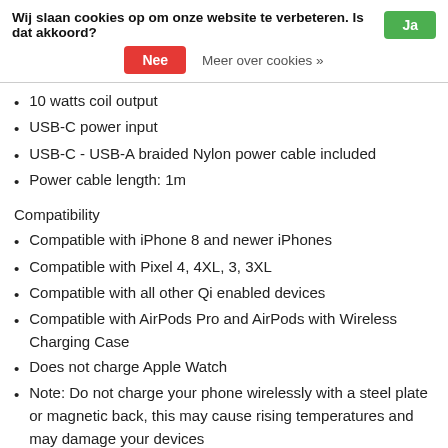Wij slaan cookies op om onze website te verbeteren. Is dat akkoord? Ja Nee Meer over cookies »
10 watts coil output
USB-C power input
USB-C - USB-A braided Nylon power cable included
Power cable length: 1m
Compatibility
Compatible with iPhone 8 and newer iPhones
Compatible with Pixel 4, 4XL, 3, 3XL
Compatible with all other Qi enabled devices
Compatible with AirPods Pro and AirPods with Wireless Charging Case
Does not charge Apple Watch
Note: Do not charge your phone wirelessly with a steel plate or magnetic back, this may cause rising temperatures and may damage your devices
What's in the Box
1 x Orbitkey Nest
1 x USB C to USB A braided Nulon power cable